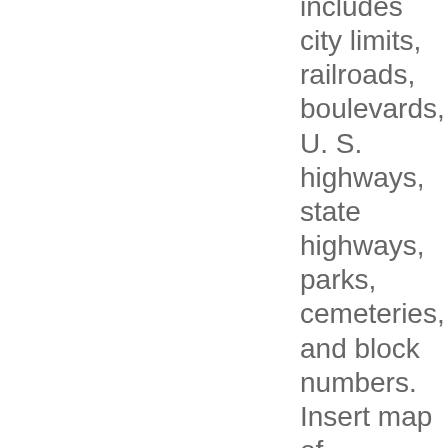includes city limits, railroads, boulevards, U. S. highways, state highways, parks, cemeteries, and block numbers. Insert map of Downtown Houston with an index and key to office buildings, public buildings, churches, and theaters